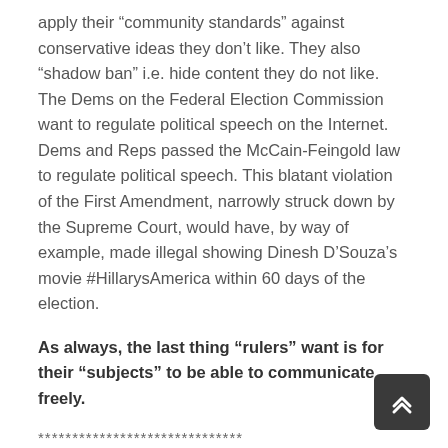apply their “community standards” against conservative ideas they don’t like. They also “shadow ban” i.e. hide content they do not like. The Dems on the Federal Election Commission want to regulate political speech on the Internet. Dems and Reps passed the McCain-Feingold law to regulate political speech. This blatant violation of the First Amendment, narrowly struck down by the Supreme Court, would have, by way of example, made illegal showing Dinesh D’Souza’s movie #HillarysAmerica within 60 days of the election.
As always, the last thing “rulers” want is for their “subjects” to be able to communicate freely.
******************************
Background re: the Internet
Until now the US government controlled the key aspect of